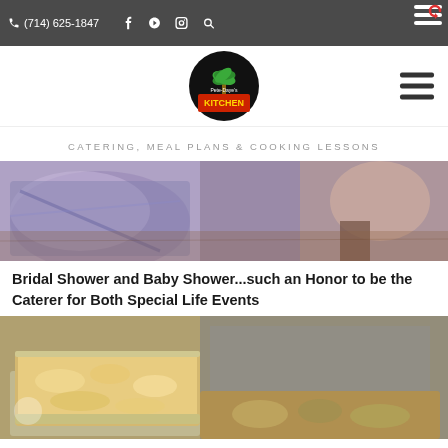(714) 625-1847
[Figure (logo): Pete-Daye's Kitchen logo — circular logo with palm tree and text]
CATERING, MEAL PLANS & COOKING LESSONS
[Figure (photo): Photo of a bridal shower or baby shower event, showing people's feet and colorful clothing on a wooden floor]
Bridal Shower and Baby Shower...such an Honor to be the Caterer for Both Special Life Events
[Figure (photo): Photo of catering food trays — aluminum pans with baked dishes and food items]